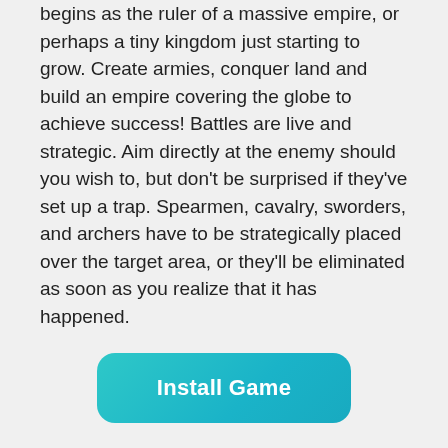begins as the ruler of a massive empire, or perhaps a tiny kingdom just starting to grow. Create armies, conquer land and build an empire covering the globe to achieve success! Battles are live and strategic. Aim directly at the enemy should you wish to, but don't be surprised if they've set up a trap. Spearmen, cavalry, sworders, and archers have to be strategically placed over the target area, or they'll be eliminated as soon as you realize that it has happened.
[Figure (other): A teal/cyan rounded rectangle button labeled 'Install Game' in bold white text]
Being a sloppy player in the face of a hostile can lead to destruction. I don't think it's possible to take the map and steamroll it. Cultural and